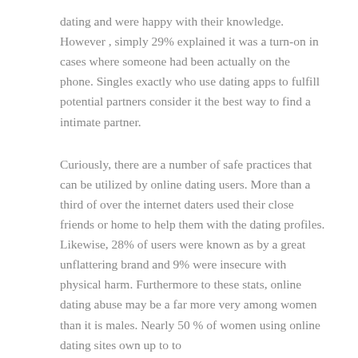dating and were happy with their knowledge. However , simply 29% explained it was a turn-on in cases where someone had been actually on the phone. Singles exactly who use dating apps to fulfill potential partners consider it the best way to find a intimate partner.
Curiously, there are a number of safe practices that can be utilized by online dating users. More than a third of over the internet daters used their close friends or home to help them with the dating profiles. Likewise, 28% of users were known as by a great unflattering brand and 9% were insecure with physical harm. Furthermore to these stats, online dating abuse may be a far more very among women than it is males. Nearly 50 % of women using online dating sites own up to to